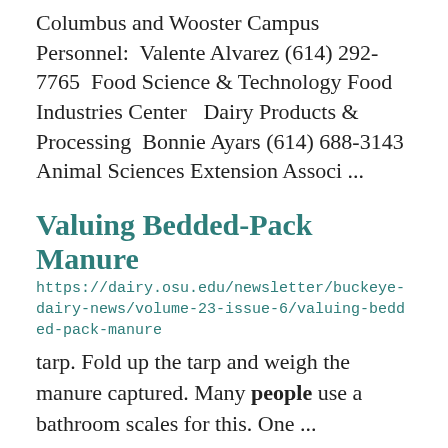Columbus and Wooster Campus Personnel:  Valente Alvarez (614) 292-7765  Food Science & Technology Food Industries Center   Dairy Products & Processing  Bonnie Ayars (614) 688-3143  Animal Sciences Extension Associ ...
Valuing Bedded-Pack Manure
https://dairy.osu.edu/newsletter/buckeye-dairy-news/volume-23-issue-6/valuing-bedded-pack-manure
tarp. Fold up the tarp and weigh the manure captured. Many people use a bathroom scales for this. One ...
Ye Xia